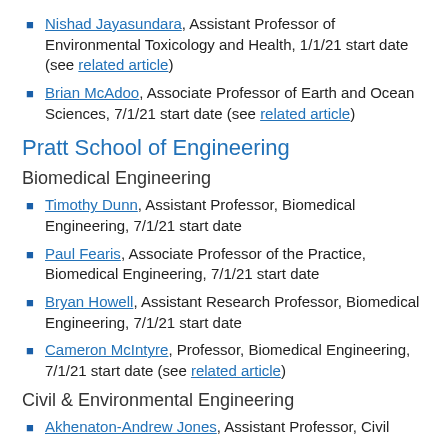Nishad Jayasundara, Assistant Professor of Environmental Toxicology and Health, 1/1/21 start date (see related article)
Brian McAdoo, Associate Professor of Earth and Ocean Sciences, 7/1/21 start date (see related article)
Pratt School of Engineering
Biomedical Engineering
Timothy Dunn, Assistant Professor, Biomedical Engineering, 7/1/21 start date
Paul Fearis, Associate Professor of the Practice, Biomedical Engineering, 7/1/21 start date
Bryan Howell, Assistant Research Professor, Biomedical Engineering, 7/1/21 start date
Cameron McIntyre, Professor, Biomedical Engineering, 7/1/21 start date (see related article)
Civil & Environmental Engineering
Akhenaton-Andrew Jones, Assistant Professor, Civil